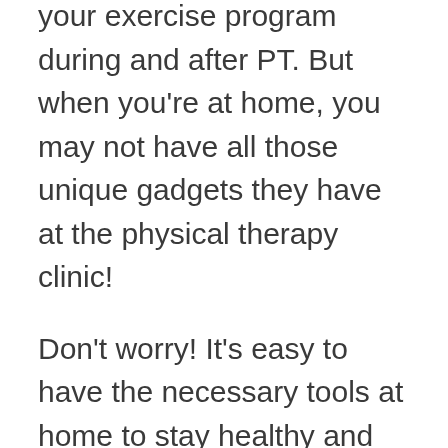your exercise program during and after PT. But when you're at home, you may not have all those unique gadgets they have at the physical therapy clinic!
Don't worry! It's easy to have the necessary tools at home to stay healthy and injury-free.
Whether you're looking to build a home gym or just have a few pieces of fitness equipment around for when the mood